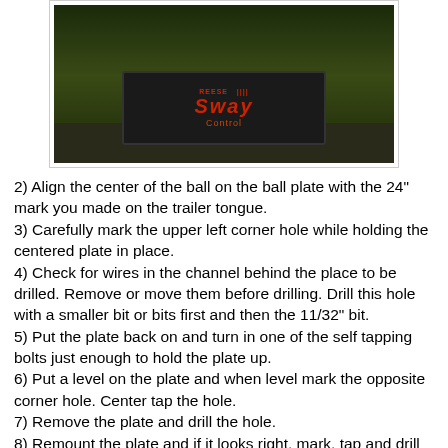[Figure (photo): Outdoor photograph showing vegetation/bushes in background with a Sway Control product box visible in the lower center of the image. The box is black and red with 'Sway' text visible.]
2) Align the center of the ball on the ball plate with the 24" mark you made on the trailer tongue.
3) Carefully mark the upper left corner hole while holding the centered plate in place.
4) Check for wires in the channel behind the place to be drilled. Remove or move them before drilling. Drill this hole with a smaller bit or bits first and then the 11/32" bit.
5) Put the plate back on and turn in one of the self tapping bolts just enough to hold the plate up.
6) Put a level on the plate and when level mark the opposite corner hole. Center tap the hole.
7) Remove the plate and drill the hole.
8) Remount the plate and if it looks right, mark, tap and drill the rest of the holes.
9) Mount the plate and snug up all six self-tapping bolts.
10) Mount the small ball on the truck hitch with the included lock washer and torque to 100 ft lbs or good and tight, like a